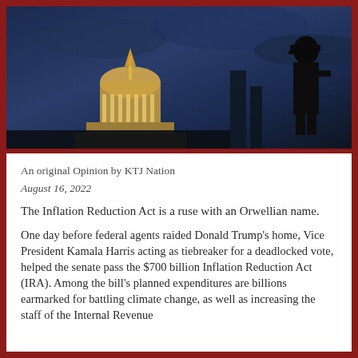[Figure (photo): Night photo of US Capitol building lit up, with a dark silhouette of a person on the right against a dark blue cloudy sky]
An original Opinion by KTJ Nation
August 16, 2022
The Inflation Reduction Act is a ruse with an Orwellian name.
One day before federal agents raided Donald Trump's home, Vice President Kamala Harris acting as tiebreaker for a deadlocked vote, helped the senate pass the $700 billion Inflation Reduction Act (IRA). Among the bill's planned expenditures are billions earmarked for battling climate change, as well as increasing the staff of the Internal Revenue